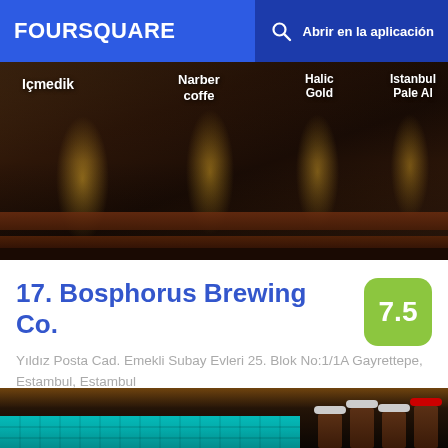FOURSQUARE  Abrir en la aplicación
[Figure (photo): Bar interior photo showing tap handles with labels: Içmedik, Narber coffe, Halic Gold, Istanbul Pale Ale]
17. Bosphorus Brewing Co.
Yıldız Posta Cad. Emekli Subay Evleri 25. Blok No:1/1A Gayrettepe, Estambul, Estambul
Bar de cerveza · Esentepe · 559 tips y reseñas
[Figure (photo): Bar interior showing illuminated bar counter with teal tile backsplash and bar stools]